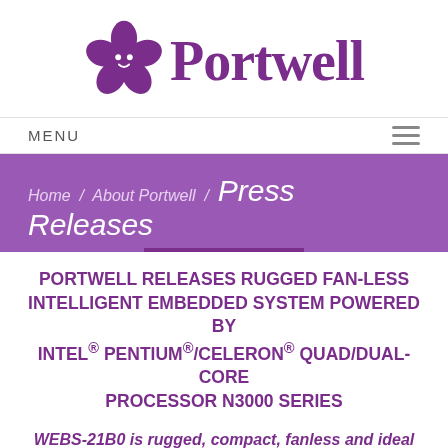[Figure (logo): Portwell logo with purple ghost/flower mascot and 'Portwell' text in purple serif font]
MENU ☰
Home / About Portwell / Press Releases
PORTWELL RELEASES RUGGED FAN-LESS INTELLIGENT EMBEDDED SYSTEM POWERED BY INTEL® PENTIUM®/CELERON® QUAD/DUAL-CORE PROCESSOR N3000 SERIES
WEBS-21B0 is rugged, compact, fanless and ideal for Kiosk, Digital Signage, IVI and Factory Automation applications